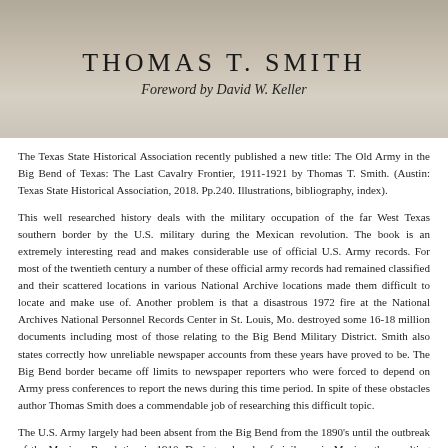[Figure (photo): Book cover image showing 'Thomas T. Smith' as author name in large uppercase letters and 'Foreword by David W. Keller' in italic below, over a sepia-toned background]
THOMAS T. SMITH
Foreword by David W. Keller
The Texas State Historical Association recently published a new title: The Old Army in the Big Bend of Texas: The Last Cavalry Frontier, 1911-1921 by Thomas T. Smith. (Austin: Texas State Historical Association, 2018. Pp.240. Illustrations, bibliography, index).
This well researched history deals with the military occupation of the far West Texas southern border by the U.S. military during the Mexican revolution. The book is an extremely interesting read and makes considerable use of official U.S. Army records. For most of the twentieth century a number of these official army records had remained classified and their scattered locations in various National Archive locations made them difficult to locate and make use of. Another problem is that a disastrous 1972 fire at the National Archives National Personnel Records Center in St. Louis, Mo. destroyed some 16-18 million documents including most of those relating to the Big Bend Military District. Smith also states correctly how unreliable newspaper accounts from these years have proved to be. The Big Bend border became off limits to newspaper reporters who were forced to depend on Army press conferences to report the news during this time period. In spite of these obstacles author Thomas Smith does a commendable job of researching this difficult topic.
The U.S. Army largely had been absent from the Big Bend from the 1890's until the outbreak of the Mexican Revolution in 1910. During a decade of civil war in Mexico, the resulting border raids, theft of livestock as well as an immense and constant stream of refugees fleeing the war into the United States greatly compounded these problems. U.S. military presence expanded on the border at a steady rate until Pancho Villa's bold attack on Columbus, New Mexico in March 1916 in which seven American soldiers and eight civilians lost their lives in the first invasion of the United States by a foreign army since the war of 1812. This prompted President Woodrow